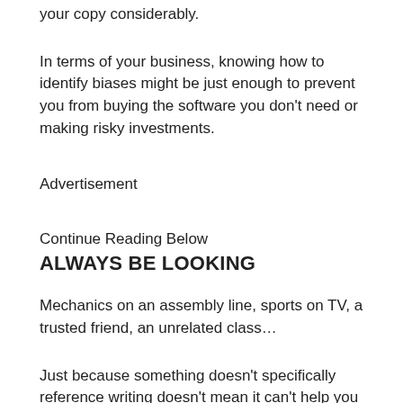your copy considerably.
In terms of your business, knowing how to identify biases might be just enough to prevent you from buying the software you don't need or making risky investments.
Advertisement
Continue Reading Below
ALWAYS BE LOOKING
Mechanics on an assembly line, sports on TV, a trusted friend, an unrelated class…
Just because something doesn't specifically reference writing doesn't mean it can't help you improve. Look for them, and be open to trying and